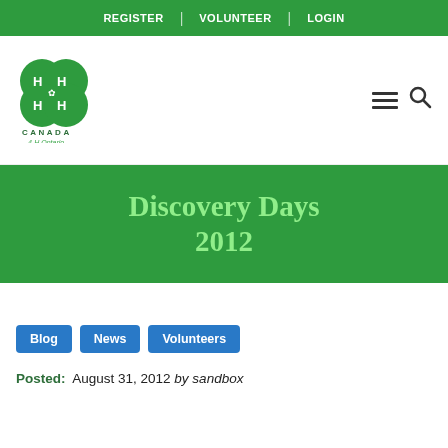REGISTER | VOLUNTEER | LOGIN
[Figure (logo): 4-H Canada / 4-H Ontario green four-leaf clover logo with H letters and maple leaf]
Discovery Days 2012
Blog
News
Volunteers
Posted: August 31, 2012 by sandbox